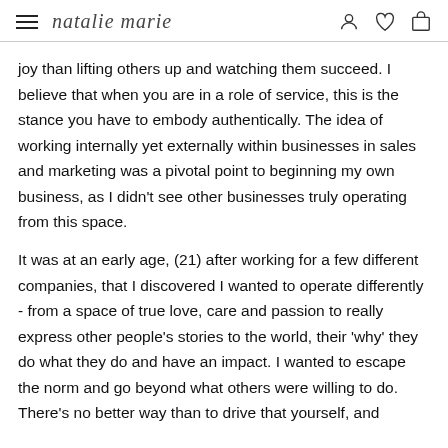natalie marie
joy than lifting others up and watching them succeed. I believe that when you are in a role of service, this is the stance you have to embody authentically. The idea of working internally yet externally within businesses in sales and marketing was a pivotal point to beginning my own business, as I didn't see other businesses truly operating from this space.
It was at an early age, (21) after working for a few different companies, that I discovered I wanted to operate differently - from a space of true love, care and passion to really express other people's stories to the world, their 'why' they do what they do and have an impact. I wanted to escape the norm and go beyond what others were willing to do. There's no better way than to drive that yourself, and